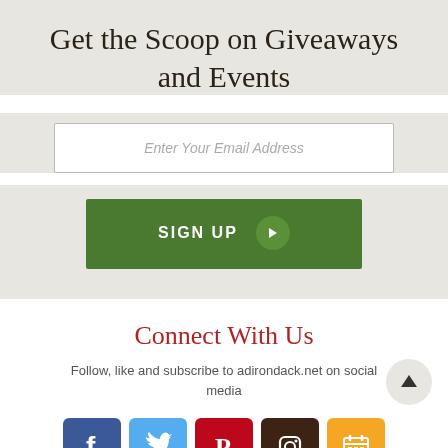Get the Scoop on Giveaways and Events
Enter Your Email Address
SIGN UP →
Connect With Us
Follow, like and subscribe to adirondack.net on social media
[Figure (infographic): Social media icons: Facebook (blue), Twitter (light blue), Pinterest (red), Instagram (dark brown), Calendar (orange/yellow)]